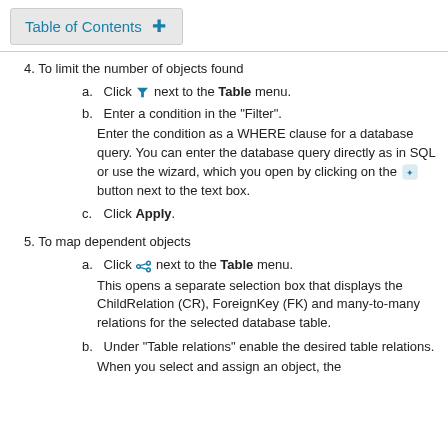Table of Contents +
4. To limit the number of objects found
a. Click [filter icon] next to the Table menu.
b. Enter a condition in the "Filter".
Enter the condition as a WHERE clause for a database query. You can enter the database query directly as in SQL or use the wizard, which you open by clicking on the [wizard icon] button next to the text box.
c. Click Apply.
5. To map dependent objects
a. Click [map icon] next to the Table menu.
This opens a separate selection box that displays the ChildRelation (CR), ForeignKey (FK) and many-to-many relations for the selected database table.
b. Under "Table relations" enable the desired table relations.
When you select and assign an object, the